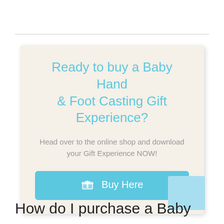Ready to buy a Baby Hand & Foot Casting Gift Experience?
Head over to the online shop and download your Gift Experience NOW!
[Figure (other): Blue button with gift icon labeled 'Buy Here']
How do I purchase a Baby